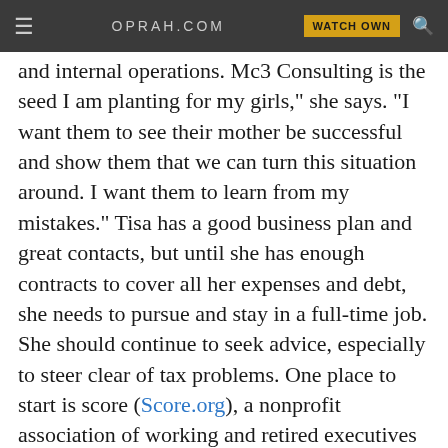≡  OPRAH.COM  WATCH OWN 🔍
and internal operations. Mc3 Consulting is the seed I am planting for my girls," she says. "I want them to see their mother be successful and show them that we can turn this situation around. I want them to learn from my mistakes." Tisa has a good business plan and great contacts, but until she has enough contracts to cover all her expenses and debt, she needs to pursue and stay in a full-time job. She should continue to seek advice, especially to steer clear of tax problems. One place to start is score (Score.org), a nonprofit association of working and retired executives and business owners who donate their time to advising entrepreneurs. Tisa has been financially solid before, and she can do it again. She needs to set a budget, get rid of her debts, and keep